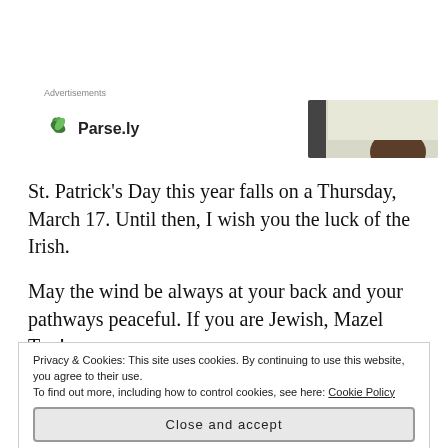Advertisements
[Figure (logo): Parse.ly logo with green leaf icon and bold text 'Parse.ly', alongside a partial advertisement image showing a person]
St. Patrick's Day this year falls on a Thursday, March 17. Until then, I wish you the luck of the Irish.
May the wind be always at your back and your pathways peaceful. If you are Jewish, Mazel Tov!
Privacy & Cookies: This site uses cookies. By continuing to use this website, you agree to their use.
To find out more, including how to control cookies, see here: Cookie Policy
Close and accept